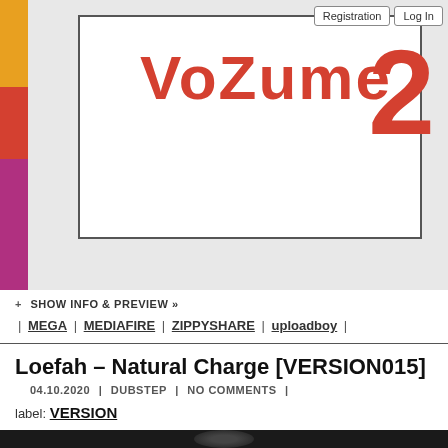[Figure (illustration): Album art showing hand-drawn styled text 'VoZume 2' in red on white background with pencil border, on grey background with colorful left strip]
Registration | Log In
+ SHOW INFO & PREVIEW »
| MEGA | MEDIAFIRE | ZIPPYSHARE | uploadboy |
Loefah – Natural Charge [VERSION015]
04.10.2020 | DUBSTEP | NO COMMENTS |
label: VERSION